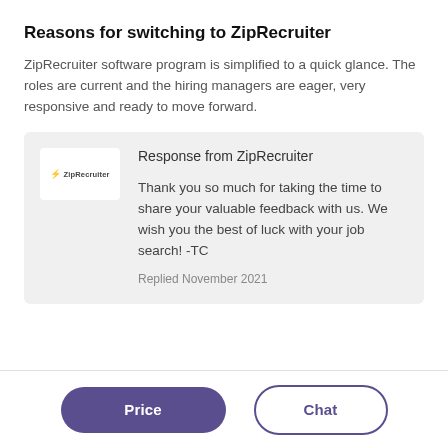Reasons for switching to ZipRecruiter
ZipRecruiter software program is simplified to a quick glance. The roles are current and the hiring managers are eager, very responsive and ready to move forward.
Response from ZipRecruiter

Thank you so much for taking the time to share your valuable feedback with us. We wish you the best of luck with your job search! -TC

Replied November 2021
Price
Chat